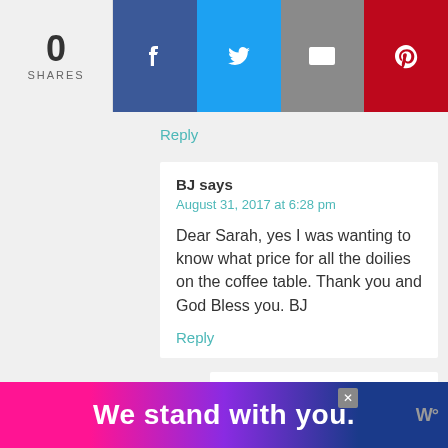[Figure (infographic): Social share bar with count '0 SHARES' and buttons for Facebook, Twitter, Email, Pinterest]
Reply
BJ says
August 31, 2017 at 6:28 pm
Dear Sarah, yes I was wanting to know what price for all the doilies on the coffee table. Thank you and God Bless you. BJ
Reply
Sadie Seasongoods says
September 1, 2017 at 10:13 am
Unfortunately, I don't recall how much I paid for each one- this project is from more than two years ago, so it's been a while
[Figure (infographic): Ad banner reading 'We stand with you.' with pink, purple and dark blue gradient background and close button]